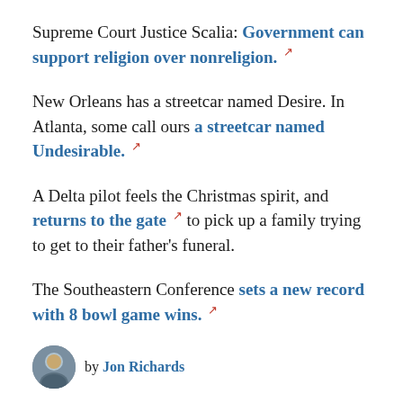Supreme Court Justice Scalia: Government can support religion over nonreligion. [external link]
New Orleans has a streetcar named Desire. In Atlanta, some call ours a streetcar named Undesirable. [external link]
A Delta pilot feels the Christmas spirit, and returns to the gate [external link] to pick up a family trying to get to their father's funeral.
The Southeastern Conference sets a new record with 8 bowl game wins. [external link]
by Jon Richards